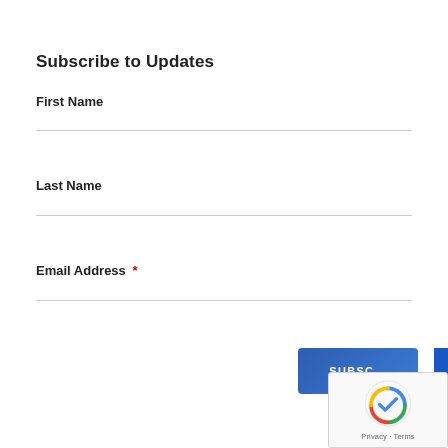Subscribe to Updates
First Name
Last Name
Email Address *
[Figure (other): SUBSCRIBE button (blue rounded rectangle) with reCAPTCHA widget overlay showing logo and Privacy - Terms text, and a blue vertical strip on the right edge]